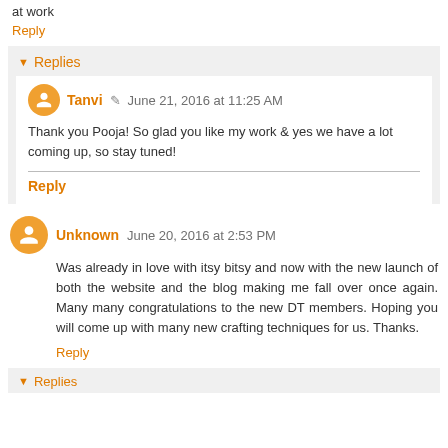at work
Reply
▾ Replies
Tanvi ✎ June 21, 2016 at 11:25 AM
Thank you Pooja! So glad you like my work & yes we have a lot coming up, so stay tuned!
Reply
Unknown June 20, 2016 at 2:53 PM
Was already in love with itsy bitsy and now with the new launch of both the website and the blog making me fall over once again. Many many congratulations to the new DT members. Hoping you will come up with many new crafting techniques for us. Thanks.
Reply
▾ Replies